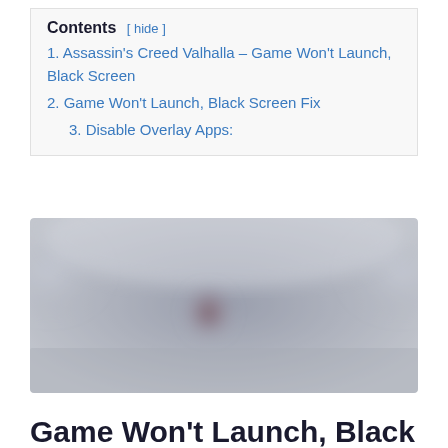Contents [ hide ]
1. Assassin's Creed Valhalla – Game Won't Launch, Black Screen
2. Game Won't Launch, Black Screen Fix
3. Disable Overlay Apps:
[Figure (photo): Blurred screenshot of Assassin's Creed Valhalla — a dark, blurry game scene used as a header image for the article about black screen fix.]
Game Won't Launch, Black